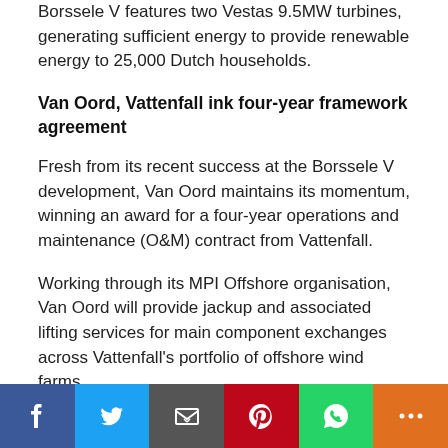Borssele V features two Vestas 9.5MW turbines, generating sufficient energy to provide renewable energy to 25,000 Dutch households.
Van Oord, Vattenfall ink four-year framework agreement
Fresh from its recent success at the Borssele V development, Van Oord maintains its momentum, winning an award for a four-year operations and maintenance (O&M) contract from Vattenfall.
Working through its MPI Offshore organisation, Van Oord will provide jackup and associated lifting services for main component exchanges across Vattenfall’s portfolio of offshore wind farms.
The contract includes planned and unplanned
[Figure (infographic): Social sharing bar with Facebook, Twitter, Email, Pinterest, WhatsApp, and More buttons]